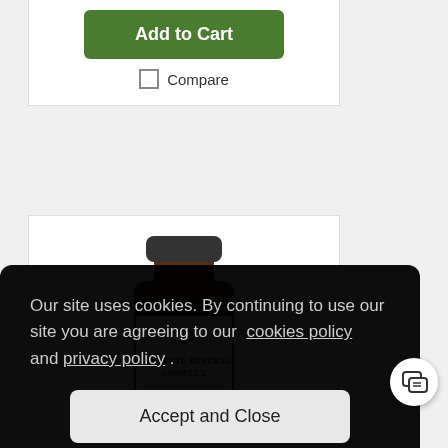Add to Cart
Compare
[Figure (photo): Brown supplement bottle with black lid labeled 'Complete Mineral Complex' with Designs for Health logo]
Our site uses cookies. By continuing to use our site you are agreeing to our cookies policy and privacy policy .
Accept and Close